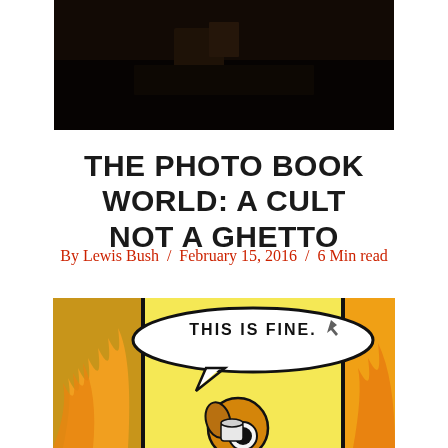[Figure (photo): Dark photograph, mostly black/dark brown tones, appears to show objects on a surface in low light]
THE PHOTO BOOK WORLD: A CULT NOT A GHETTO
By Lewis Bush / February 15, 2016 / 6 Min read
[Figure (photo): Photograph of a screen showing the 'This Is Fine' internet meme comic panel — a cartoon dog sitting in a room on fire, with a speech bubble reading 'THIS IS FINE.']